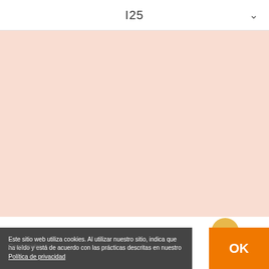I25
[Figure (other): Large pink/salmon colored background area]
Este sitio web utiliza cookies. Al utilizar nuestro sitio, indica que ha leído y está de acuerdo con las prácticas descritas en nuestro Política de privacidad
Consumidor
OK